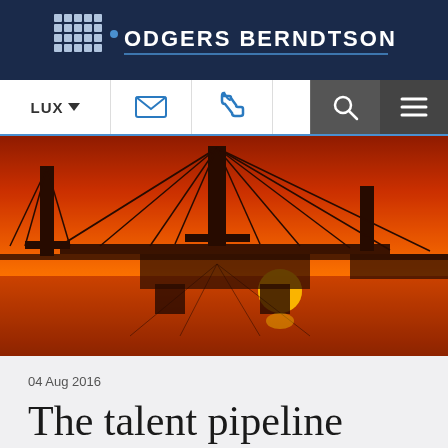ODGERS BERNDTSON
[Figure (screenshot): Navigation bar with LUX dropdown, email icon, phone icon, search icon, and hamburger menu icon]
[Figure (photo): Industrial port cranes silhouetted against an orange sunset sky, reflected in water below]
04 Aug 2016
The talent pipeline